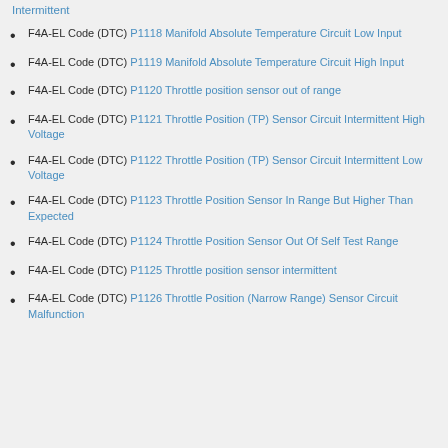Intermittent
F4A-EL Code (DTC) P1118 Manifold Absolute Temperature Circuit Low Input
F4A-EL Code (DTC) P1119 Manifold Absolute Temperature Circuit High Input
F4A-EL Code (DTC) P1120 Throttle position sensor out of range
F4A-EL Code (DTC) P1121 Throttle Position (TP) Sensor Circuit Intermittent High Voltage
F4A-EL Code (DTC) P1122 Throttle Position (TP) Sensor Circuit Intermittent Low Voltage
F4A-EL Code (DTC) P1123 Throttle Position Sensor In Range But Higher Than Expected
F4A-EL Code (DTC) P1124 Throttle Position Sensor Out Of Self Test Range
F4A-EL Code (DTC) P1125 Throttle position sensor intermittent
F4A-EL Code (DTC) P1126 Throttle Position (Narrow Range) Sensor Circuit Malfunction